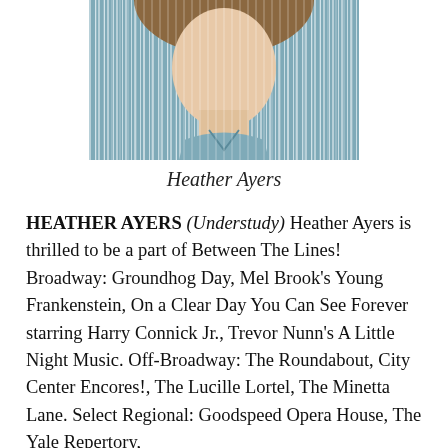[Figure (photo): Headshot photo of Heather Ayers, a woman with light brown hair, wearing a blue and white striped shirt, cropped to show shoulders and partial face]
Heather Ayers
HEATHER AYERS (Understudy) Heather Ayers is thrilled to be a part of Between The Lines! Broadway: Groundhog Day, Mel Brook's Young Frankenstein, On a Clear Day You Can See Forever starring Harry Connick Jr., Trevor Nunn's A Little Night Music. Off-Broadway: The Roundabout, City Center Encores!, The Lucille Lortel, The Minetta Lane. Select Regional: Goodspeed Opera House, The Yale Repertory,